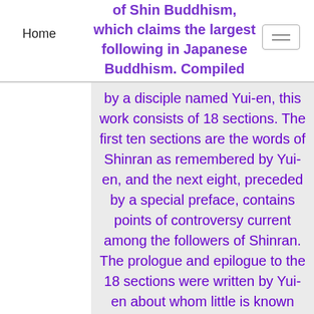Home
of Shin Buddhism, which claims the largest following in Japanese Buddhism. Compiled several decades after his death by a disciple named Yui-en, this work consists of 18 sections. The first ten sections are the words of Shinran as remembered by Yui-en, and the next eight, preceded by a special preface, contains points of controversy current among the followers of Shinran. The prologue and epilogue to the 18 sections were written by Yui-en about whom little is known historically.

The Tannisho is one of the most widely read works in Japanese Buddhism, known not only as a religious but literary classic. It is impossible to translate such a work into English adequately and fully, but I have attempted to transmit some sense of its flowing style, religious content, and spiritual flavor. Among those